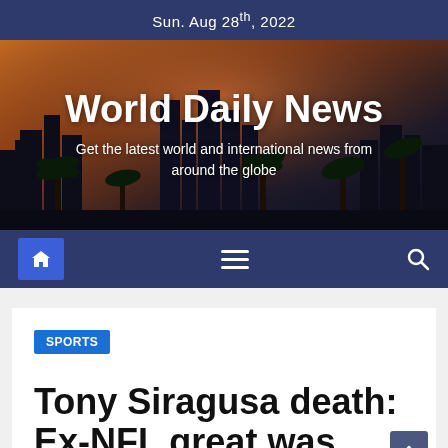Sun. Aug 28th, 2022
[Figure (photo): City skyline at sunset with palm trees and dark sky, serving as background for World Daily News masthead]
World Daily News
Get the latest world and international news from around the globe
[Figure (infographic): Navigation bar with home icon button, hamburger menu icon, and search icon on dark blue background]
SPORTS
Tony Siragusa death: Ex-NFL great was